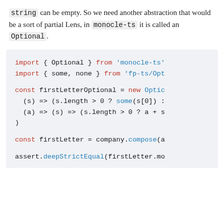string can be empty. So we need another abstraction that would be a sort of partial Lens, in monocle-ts it is called an Optional.
[Figure (screenshot): Code block showing TypeScript imports and usage of Optional from monocle-ts and fp-ts, including firstLetterOptional and firstLetter definitions and an assert statement.]